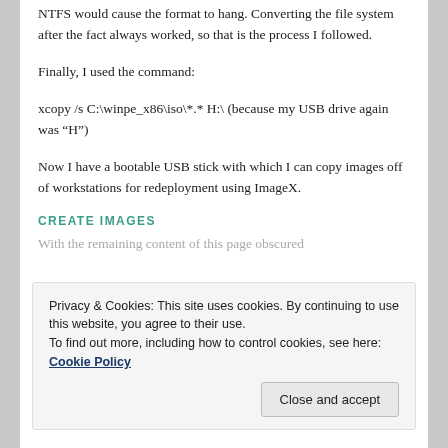NTFS would cause the format to hang. Converting the file system after the fact always worked, so that is the process I followed.
Finally, I used the command:
xcopy /s C:\winpe_x86\iso\*.* H:\ (because my USB drive again was “H”)
Now I have a bootable USB stick with which I can copy images off of workstations for redeployment using ImageX.
CREATE IMAGES
With the remaining content of this page obscured by cookie banner overlay.
Privacy & Cookies: This site uses cookies. By continuing to use this website, you agree to their use.
To find out more, including how to control cookies, see here: Cookie Policy
Close and accept